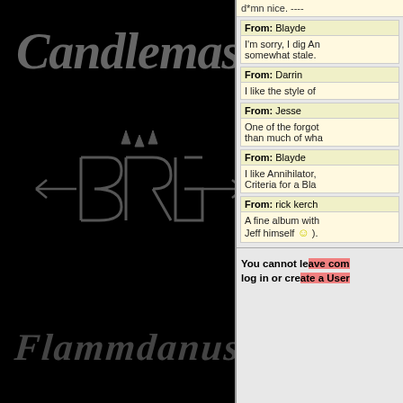[Figure (other): Black album cover with band name 'Candlemass' in gothic blackletter font, grey on black, with metal band logos in dark grey]
d*mn nice. ----
From: Blayde
I'm sorry, I dig Annihilator, but this feels somewhat stale.
From: Darrin
I like the style of
From: Jesse
One of the forgotten... better than much of wha
From: Blayde
I like Annihilator, Criteria for a Bla
From: rick kerch
A fine album with Jeff himself 🙂 ).
You cannot leave comments. log in or create a User